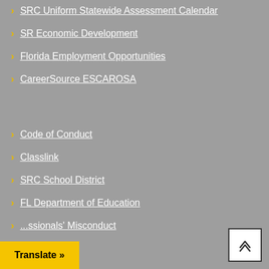SRC Uniform Statewide Assessment Calendar
SR Economic Development
Florida Employment Opportunities
CareerSource ESCAROSA
Code of Conduct
Classlink
SRC School District
FL Department of Education
...ssionals' Misconduct
Translate »